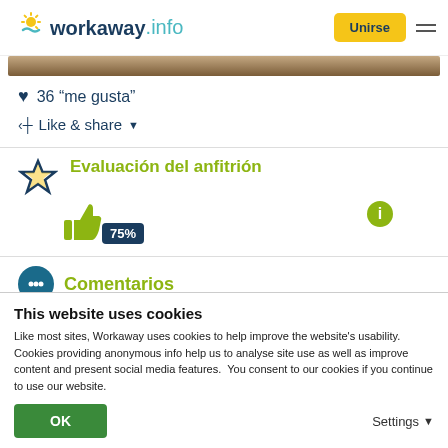workaway.info — Unirse
[Figure (photo): Cropped photo bar showing a wooden surface]
❤ 36 “me gusta”
< Like & share ▼
Evaluación del anfitrión
[Figure (infographic): Thumbs up icon in green with 75% badge in dark blue]
Comentarios
This website uses cookies
Like most sites, Workaway uses cookies to help improve the website's usability. Cookies providing anonymous info help us to analyse site use as well as improve content and present social media features.  You consent to our cookies if you continue to use our website.
OK
Settings ▾